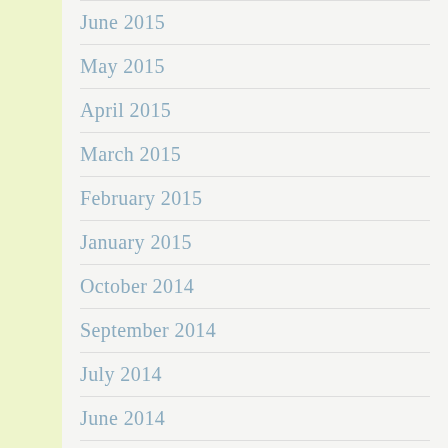June 2015
May 2015
April 2015
March 2015
February 2015
January 2015
October 2014
September 2014
July 2014
June 2014
May 2014
April 2014